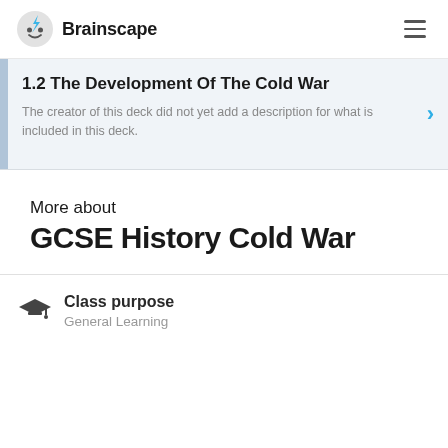Brainscape
1.2 The Development Of The Cold War
The creator of this deck did not yet add a description for what is included in this deck.
More about
GCSE History Cold War
Class purpose
General Learning